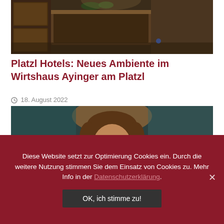[Figure (photo): Interior of a traditional German restaurant/pub with dark wooden bar and furniture, warm lighting]
Platzl Hotels: Neues Ambiente im Wirtshaus Ayinger am Platzl
18. August 2022
[Figure (photo): Portrait of a smiling bearded man with warm bokeh lighting in background, likely in a restaurant setting]
Diese Website setzt zur Optimierung Cookies ein. Durch die weitere Nutzung stimmen Sie dem Einsatz von Cookies zu. Mehr Info in der Datenschutzerklärung.
OK, ich stimme zu!